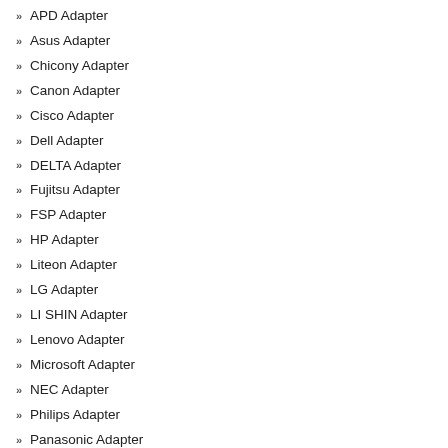APD Adapter
Asus Adapter
Chicony Adapter
Canon Adapter
Cisco Adapter
Dell Adapter
DELTA Adapter
Fujitsu Adapter
FSP Adapter
HP Adapter
Liteon Adapter
LG Adapter
LI SHIN Adapter
Lenovo Adapter
Microsoft Adapter
NEC Adapter
Philips Adapter
Panasonic Adapter
Samsung Adapter
SONY Adapter
Toshiba Adapter
More AC Adapter..